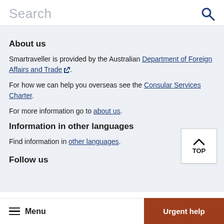Search
About us
Smartraveller is provided by the Australian Department of Foreign Affairs and Trade.
For how we can help you overseas see the Consular Services Charter.
For more information go to about us.
Information in other languages
Find information in other languages.
Follow us
Menu   Urgent help